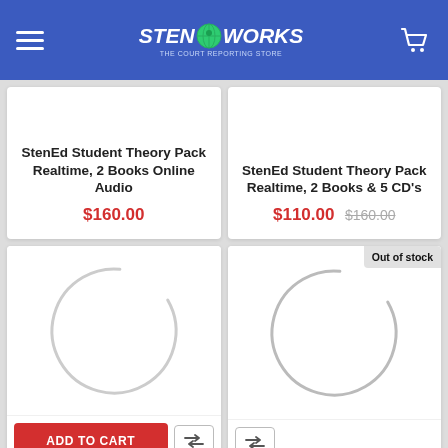StenEd Works - The Court Reporting Store
StenEd Student Theory Pack Realtime, 2 Books Online Audio
$160.00
StenEd Student Theory Pack Realtime, 2 Books & 5 CD's
$110.00  $160.00
[Figure (illustration): Loading spinner arc - circular loading indicator, gray arc on white background]
[Figure (illustration): Loading spinner arc - circular loading indicator, gray arc on white background, with Out of stock badge]
ADD TO CART
StenEd Realtime Theory (Online Digital Audio) 38
StenEd Realtime Theory 101 NEW Free Shipping